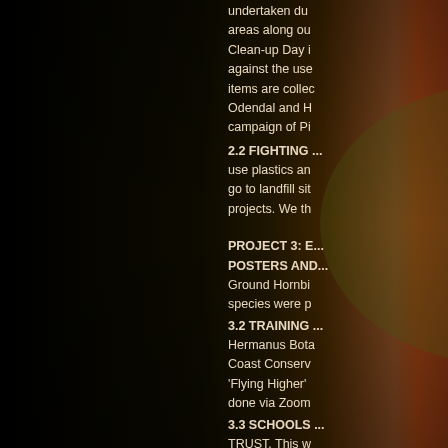undertaken du... areas along ou... Clean-up Day i... against the use... items are collec... Odendal and H... campaign of Pi...
2.2 FIGHTING ...
use plastics an... go to landfill sit... projects. We th...
PROJECT 3: E...
POSTERS AND...
Ground Hornbi... species were p...
3.2 TRAINING ...
Hermanus Bota... Coast Conserv... 'Flying Higher' ... done via Zoom...
3.3 SCHOOLS ...
TRUST. This w...